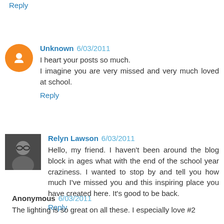Reply
Unknown 6/03/2011
I heart your posts so much.
I imagine you are very missed and very much loved at school.
Reply
Relyn Lawson 6/03/2011
Hello, my friend. I haven't been around the blog block in ages what with the end of the school year craziness. I wanted to stop by and tell you how much I've missed you and this inspiring place you have created here. It's good to be back.
Reply
Anonymous 6/03/2011
The lighting is so great on all these. I especially love #2